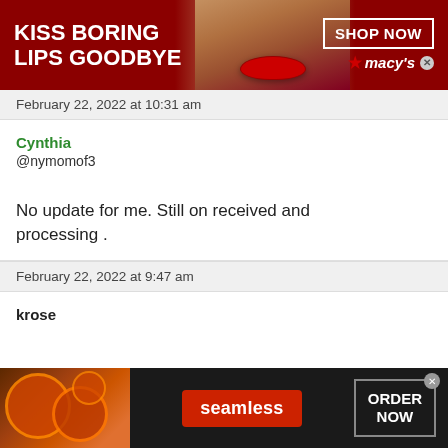[Figure (infographic): Macy's advertisement banner: 'KISS BORING LIPS GOODBYE' with a woman's face and red lips, SHOP NOW button, and Macy's star logo]
February 22, 2022 at 10:31 am
Cynthia
@nymomof3
No update for me. Still on received and processing .
February 22, 2022 at 9:47 am
krose
[Figure (infographic): Seamless food delivery advertisement with pizza image, Seamless logo in red, and ORDER NOW button]